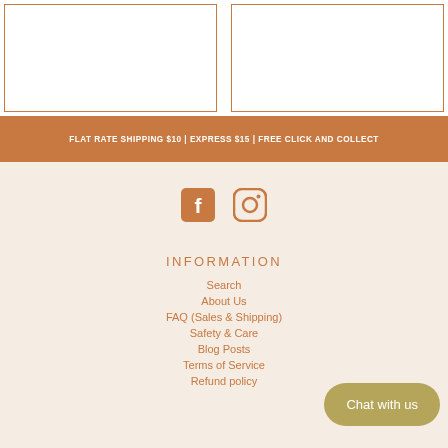[Figure (other): Two white bordered product cards side by side with terracotta/rust outline borders on white background]
FLAT RATE SHIPPING $10 | EXPRESS $15 | FREE CLICK AND COLLECT
[Figure (other): Facebook icon - filled square with f logo in terracotta color]
[Figure (other): Instagram icon - rounded square camera outline in terracotta color]
INFORMATION
Search
About Us
FAQ (Sales & Shipping)
Safety & Care
Blog Posts
Terms of Service
Refund policy
Chat with us